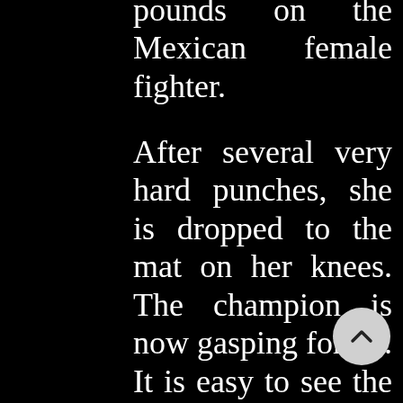pounds on the Mexican female fighter.
After several very hard punches, she is dropped to the mat on her knees. The champion is now gasping for air. It is easy to see the fear and pain on her face. Reaching up with her gloved hand she grabs the ropes and p herself to her feet. It